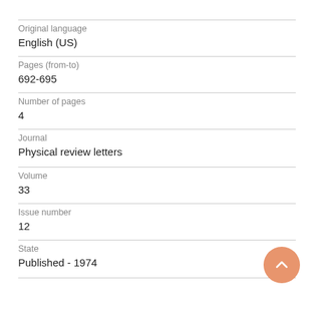Original language
English (US)
Pages (from-to)
692-695
Number of pages
4
Journal
Physical review letters
Volume
33
Issue number
12
State
Published - 1974